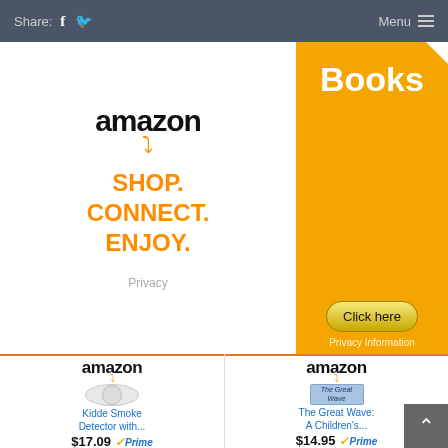Share: [facebook] [twitter]  Menu ≡
[Figure (screenshot): Amazon advertisement with 'amazon' logo and text: SHOP. CONNECT. ENJOY. with orange arrow smile logo. Privacy label below.]
[Figure (screenshot): Orange Books advertisement panel with 'Books' title in white bold text and a 'Click here' button with 'Privacy Information' text.]
[Figure (screenshot): Amazon product listing for Kidde Smoke Detector with price $17.09 and Prime badge.]
[Figure (screenshot): Amazon product listing for 'The Great Wave: A Children's...' book with price $14.95 and Prime badge.]